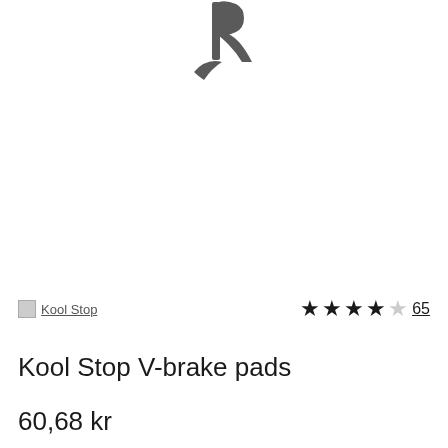[Figure (logo): Partial dark grey logo/icon visible at top center of page, appears to be a stylized letter or brand mark in grey]
Kool Stop
★★★★☆ 65
Kool Stop V-brake pads
60,68 kr